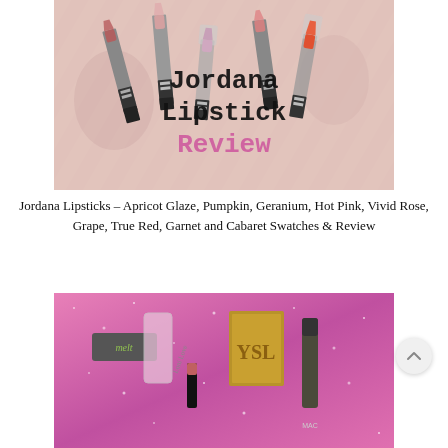[Figure (photo): Photo of multiple Jordana lipsticks arranged on a pink floral fabric background, with text overlay reading 'Jordana Lipstick Review' in typewriter font]
Jordana Lipsticks - Apricot Glaze, Pumpkin, Geranium, Hot Pink, Vivid Rose, Grape, True Red, Garnet and Cabaret Swatches & Review
[Figure (photo): Photo of lipstick products on a pink glitter background including a Melt lipstick, a clear-cased lipstick with 'Loni Love' written on it, a YSL lipstick in gold case, and a MAC lipstick]